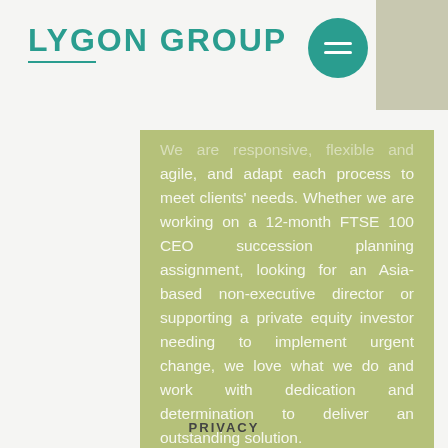[Figure (logo): Lygon Group logo in teal/green color with underline beneath 'Lygon']
[Figure (other): Teal circle with two horizontal white lines (hamburger menu icon)]
We are responsive, flexible and agile, and adapt each process to meet clients' needs. Whether we are working on a 12-month FTSE 100 CEO succession planning assignment, looking for an Asia-based non-executive director or supporting a private equity investor needing to implement urgent change, we love what we do and work with dedication and determination to deliver an outstanding solution.
PRIVACY